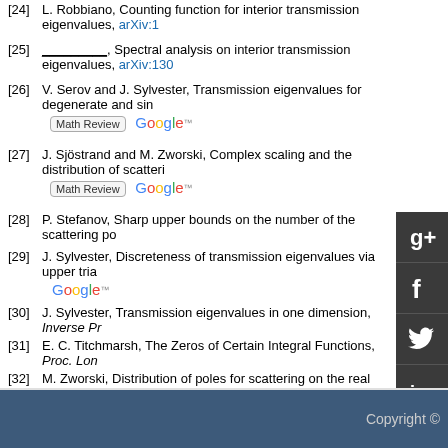[24] L. Robbiano, Counting function for interior transmission eigenvalues, arXiv:1...
[25] _________, Spectral analysis on interior transmission eigenvalues, arXiv:130...
[26] V. Serov and J. Sylvester, Transmission eigenvalues for degenerate and sin... [Math Review] [Google]
[27] J. Sjöstrand and M. Zworski, Complex scaling and the distribution of scatteri... [Math Review] [Google]
[28] P. Stefanov, Sharp upper bounds on the number of the scattering po...
[29] J. Sylvester, Discreteness of transmission eigenvalues via upper tria... [Google]
[30] J. Sylvester, Transmission eigenvalues in one dimension, Inverse Pr...
[31] E. C. Titchmarsh, The Zeros of Certain Integral Functions, Proc. Lon...
[32] M. Zworski, Distribution of poles for scattering on the real line, J. Fu...
show all references
Copyright ©